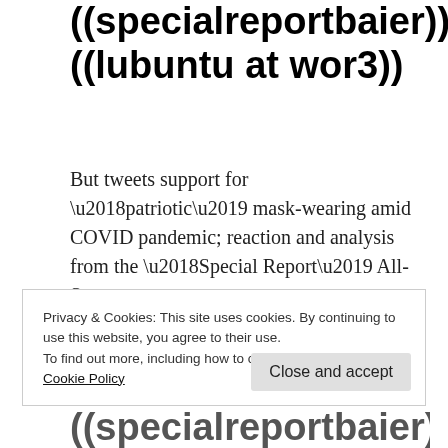((specialreportbaier)) ((lubuntu at wor3))
But tweets support for ‘patriotic’ mask-wearing amid COVID pandemic; reaction and analysis from the ‘Special Report’ All-Stars
Jonn Steward / July 20, 2020 / sr / foxnews, sr / Leave a comment
Privacy & Cookies: This site uses cookies. By continuing to use this website, you agree to their use.
To find out more, including how to control cookies, see here:
Cookie Policy
Close and accept
((specialreportbaier))